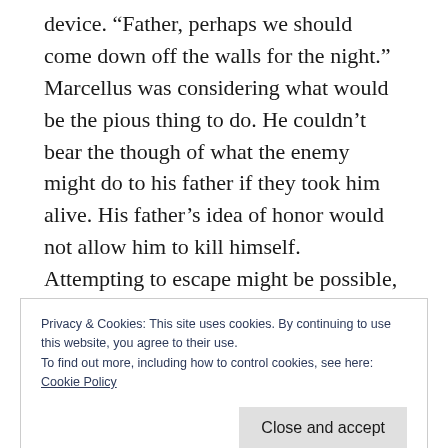device. “Father, perhaps we should come down off the walls for the night.” Marcellus was considering what would be the pious thing to do. He couldn’t bear the though of what the enemy might do to his father if they took him alive. His father’s idea of honor would not allow him to kill himself. Attempting to escape might be possible, but only in the chaos of the inevitable sacking. He hadn’t planned on living long enough to consider that, as he would be expected to lead the defense. It would be
Privacy & Cookies: This site uses cookies. By continuing to use this website, you agree to their use.
To find out more, including how to control cookies, see here:
Cookie Policy
Close and accept